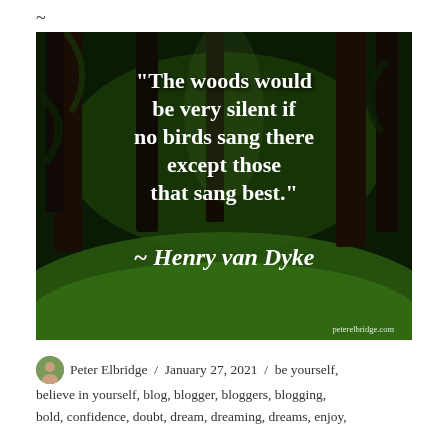~
[Figure (photo): Forest photo with overlaid quote text in bold white serif font: "The woods would be very silent if no birds sang there except those that sang best." ~ Henry van Dyke. Website watermark: peterelbridge.com]
Peter Elbridge  /  January 27, 2021  /  be yourself, believe in yourself, blog, blogger, bloggers, blogging, bold, confidence, doubt, dream, dreaming, dreams, enjoy,